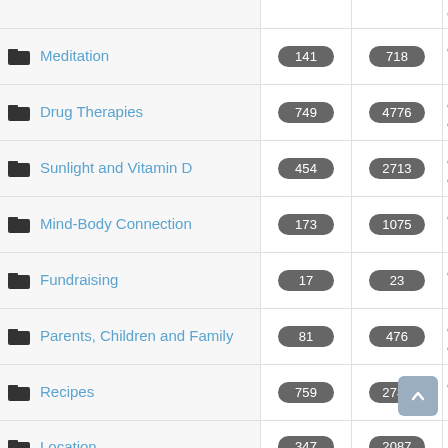| Category | Count1 | Count2 | Last |
| --- | --- | --- | --- |
| Meditation | 141 | 718 | Lo Tu |
| Drug Therapies | 749 | 4776 | Lo Mo |
| Sunlight and Vitamin D | 454 | 2713 | Lo Mo |
| Mind-Body Connection | 173 | 1075 | Lo Tu |
| Fundraising | 17 | 23 | Lo Tu |
| Parents, Children and Family | 81 | 476 | Lo Mo |
| Recipes | 759 | 2782 | Lo Tu |
| Location | 347 | 2087 | Lo |